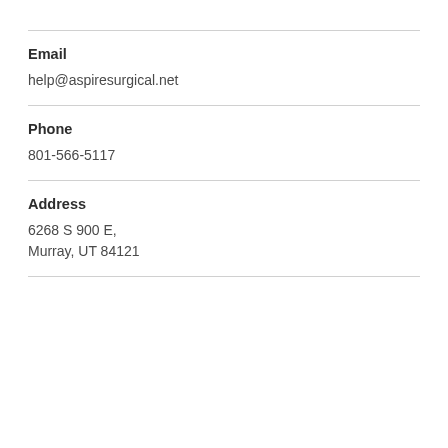Email
help@aspiresurgical.net
Phone
801-566-5117
Address
6268 S 900 E,
Murray, UT 84121